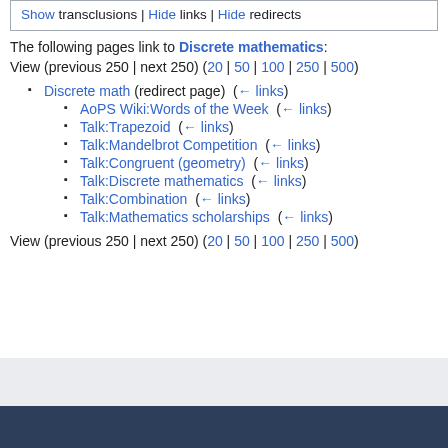Show transclusions | Hide links | Hide redirects
The following pages link to Discrete mathematics:
View (previous 250 | next 250) (20 | 50 | 100 | 250 | 500)
Discrete math (redirect page)  (← links)
AoPS Wiki:Words of the Week  (← links)
Talk:Trapezoid  (← links)
Talk:Mandelbrot Competition  (← links)
Talk:Congruent (geometry)  (← links)
Talk:Discrete mathematics  (← links)
Talk:Combination  (← links)
Talk:Mathematics scholarships  (← links)
View (previous 250 | next 250) (20 | 50 | 100 | 250 | 500)